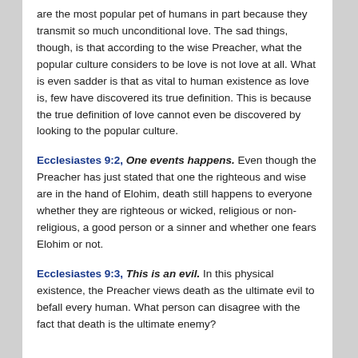are the most popular pet of humans in part because they transmit so much unconditional love. The sad things, though, is that according to the wise Preacher, what the popular culture considers to be love is not love at all. What is even sadder is that as vital to human existence as love is, few have discovered its true definition. This is because the true definition of love cannot even be discovered by looking to the popular culture.
Ecclesiastes 9:2, One events happens. Even though the Preacher has just stated that one the righteous and wise are in the hand of Elohim, death still happens to everyone whether they are righteous or wicked, religious or non-religious, a good person or a sinner and whether one fears Elohim or not.
Ecclesiastes 9:3, This is an evil. In this physical existence, the Preacher views death as the ultimate evil to befall every human. What person can disagree with the fact that death is the ultimate enemy?